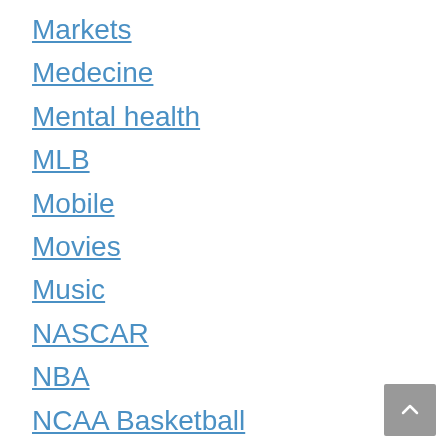Markets
Medecine
Mental health
MLB
Mobile
Movies
Music
NASCAR
NBA
NCAA Basketball
NCAA Football
NFL
NHL